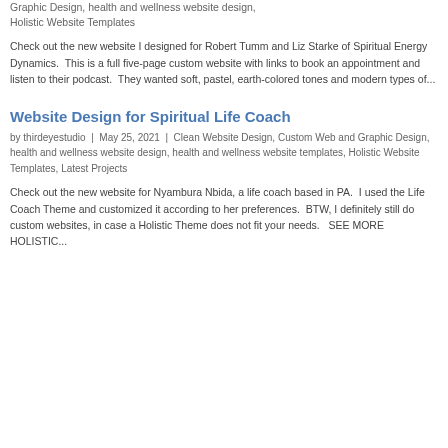Graphic Design, health and wellness website design, Holistic Website Templates
Check out the new website I designed for Robert Tumm and Liz Starke of Spiritual Energy Dynamics.  This is a full five-page custom website with links to book an appointment and listen to their podcast.  They wanted soft, pastel, earth-colored tones and modern types of...
Website Design for Spiritual Life Coach
by thirdeyestudio  |  May 25, 2021  |  Clean Website Design, Custom Web and Graphic Design, health and wellness website design, health and wellness website templates, Holistic Website Templates, Latest Projects
Check out the new website for Nyambura Nbida, a life coach based in PA.  I used the Life Coach Theme and customized it according to her preferences.  BTW, I definitely still do custom websites, in case a Holistic Theme does not fit your needs.   SEE MORE HOLISTIC...